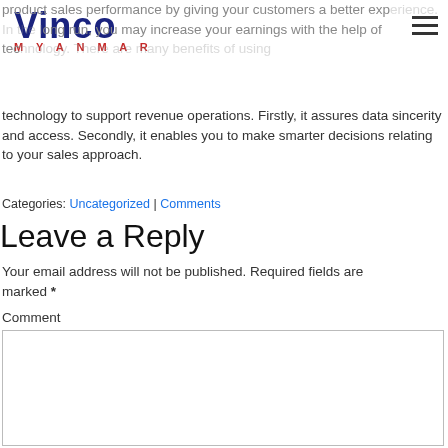Vinco Myanmar
product sales performance by giving your customers a better experience. In the long run, you may increase your earnings with the help of technology. There are many benefits of using technology to support revenue operations. Firstly, it assures data sincerity and access. Secondly, it enables you to make smarter decisions relating to your sales approach.
Categories: Uncategorized | Comments
Leave a Reply
Your email address will not be published. Required fields are marked *
Comment